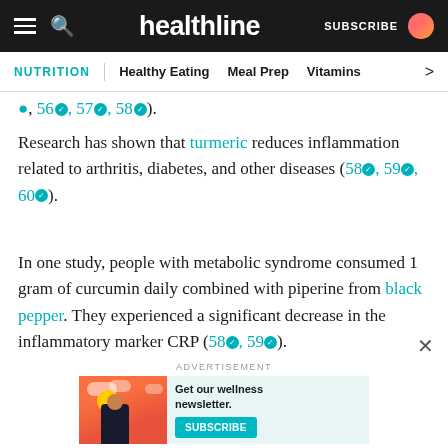healthline — NUTRITION | Healthy Eating | Meal Prep | Vitamins
●, 56●, 57●, 58●).
Research has shown that turmeric reduces inflammation related to arthritis, diabetes, and other diseases (58●, 59●, 60●).
In one study, people with metabolic syndrome consumed 1 gram of curcumin daily combined with piperine from black pepper. They experienced a significant decrease in the inflammatory marker CRP (58●, 59●).
ADVERTISEMENT
[Figure (infographic): Advertisement banner for Healthline wellness newsletter with Subscribe button]